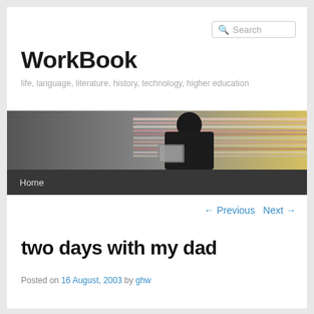WorkBook — life, language, literature, history, technology, higher education
[Figure (photo): Banner photo of a person reading, with motion blur of colorful horizontal streaks in background, with a dark navigation bar below containing 'Home' link]
← Previous   Next →
two days with my dad
Posted on 16 August, 2003 by ghw